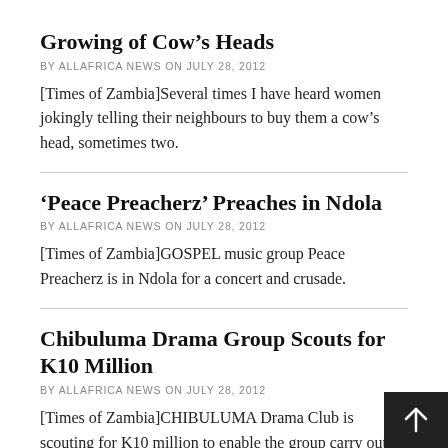Growing of Cow’s Heads
BY ALLAFRICA NEWS ON JULY 28, 2012
[Times of Zambia]Several times I have heard women jokingly telling their neighbours to buy them a cow’s head, sometimes two.
‘Peace Preacherz’ Preaches in Ndola
BY ALLAFRICA NEWS ON JULY 28, 2012
[Times of Zambia]GOSPEL music group Peace Preacherz is in Ndola for a concert and crusade.
Chibuluma Drama Group Scouts for K10 Million
BY ALLAFRICA NEWS ON JULY 28, 2012
[Times of Zambia]CHIBULUMA Drama Club is scouting for K10 million to enable the group carry out awareness programmes on HIV/AIDS, malaria Tuberculosis an… deforestation.